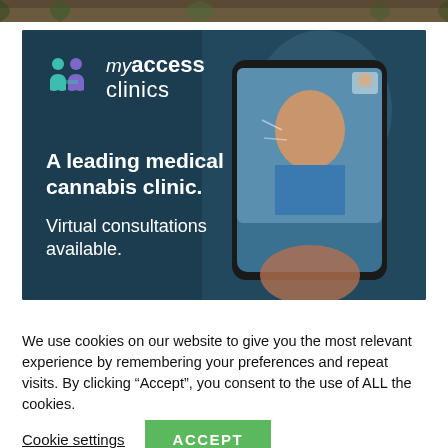[Figure (photo): Top strip of a nature/plant image cropped at the top of the page]
[Figure (photo): MyAccess Clinics advertisement banner with dark teal background, logo with M icon and myaccess clinics text, text reading 'A leading medical cannabis clinic. Virtual consultations available.' and a hand holding a smartphone showing a video call with a female doctor]
We use cookies on our website to give you the most relevant experience by remembering your preferences and repeat visits. By clicking “Accept”, you consent to the use of ALL the cookies.
Cookie settings
ACCEPT